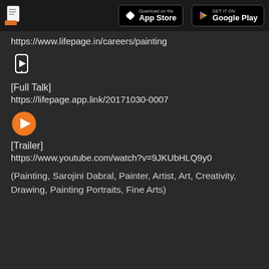[Figure (screenshot): App store header bar with document icon, Download on the App Store button, and Get it on Google Play button]
https://www.lifepage.in/careers/painting
[Figure (illustration): Mobile phone with play button icon (Full Talk)]
[Full Talk]
https://lifepage.app.link/20171030-0007
[Figure (illustration): Orange circle play button icon (Trailer)]
[Trailer]
https://www.youtube.com/watch?v=9JKUbHLQ9y0
(Painting, Sarojini Dabral, Painter, Artist, Art, Creativity, Drawing, Painting Portraits, Fine Arts)